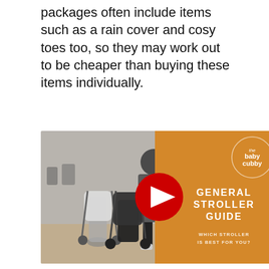packages often include items such as a rain cover and cosy toes too, so they may work out to be cheaper than buying these items individually.
[Figure (screenshot): YouTube video thumbnail showing a woman standing next to multiple strollers in a store. The right half has an orange overlay with text 'GENERAL STROLLER GUIDE - WHICH STROLLER IS BEST FOR YOU?' and a 'the baby cubby' badge. A red YouTube play button is centered over the image.]
Is it worth buying a travel stroller?
If your child still naps, a travel stroller will